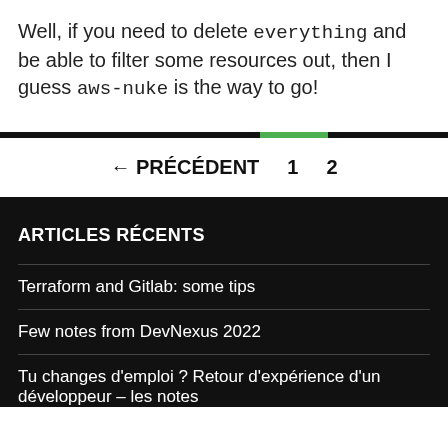Well, if you need to delete everything and be able to filter some resources out, then I guess aws-nuke is the way to go!
← PRÉCÉDENT   1   2
ARTICLES RÉCENTS
Terraform and Gitlab: some tips
Few notes from DevNexus 2022
Tu changes d'emploi ? Retour d'expérience d'un développeur – les notes